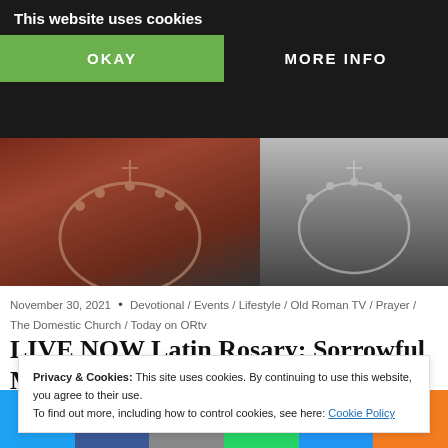This website uses cookies
OKAY   MORE INFO
[Figure (photo): Hero image showing rosary beads and cross on red/grey background]
November 30, 2021 • Devotional / Events / Lifestyle / Old Roman TV / Prayer / The Domestic Church / Today on ORtv
LIVE NOW Latin Rosary: Sorrowful Mysteries
Join other orthodox Catholics to pray the traditional
Privacy & Cookies: This site uses cookies. By continuing to use this website, you agree to their use.
To find out more, including how to control cookies, see here: Cookie Policy
Twitter  Facebook  Email  WhatsApp  SMS  More